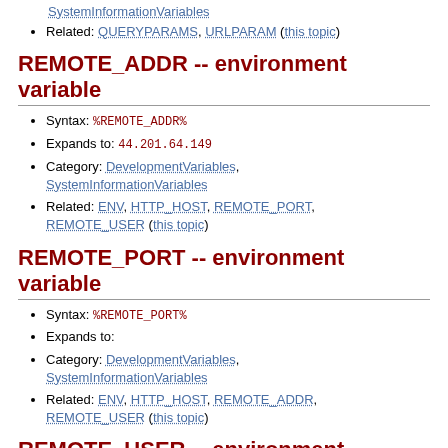SystemInformationVariables
Related: QUERYPARAMS, URLPARAM (this topic)
REMOTE_ADDR -- environment variable
Syntax: %REMOTE_ADDR%
Expands to: 44.201.64.149
Category: DevelopmentVariables, SystemInformationVariables
Related: ENV, HTTP_HOST, REMOTE_PORT, REMOTE_USER (this topic)
REMOTE_PORT -- environment variable
Syntax: %REMOTE_PORT%
Expands to:
Category: DevelopmentVariables, SystemInformationVariables
Related: ENV, HTTP_HOST, REMOTE_ADDR, REMOTE_USER (this topic)
REMOTE_USER -- environment variable